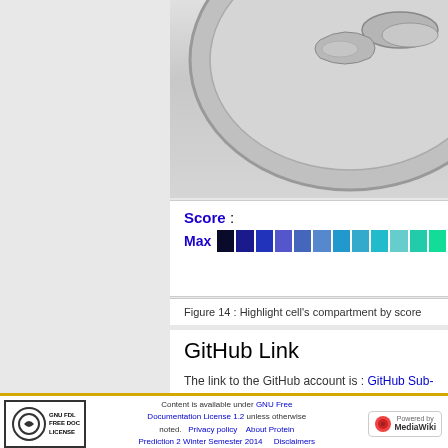[Figure (illustration): Partial view of a cell diagram with grey organelles visible at top, showing sub-cellular compartments. Score color bar below showing gradient from dark navy to cyan/green representing score values.]
Figure 14 : Highlight cell's compartment by score
GitHub Link
The link to the GitHub account is : GitHub Sub-cellular localization in cell
Content is available under GNU Free Documentation License 1.2 unless otherwise noted. Privacy policy About Protein Prediction 2 Winter Semester 2014 Disclaimers